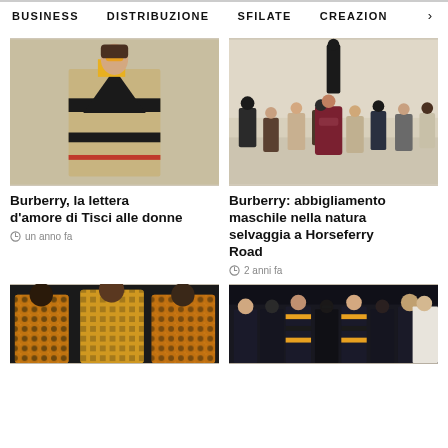BUSINESS   DISTRIBUZIONE   SFILATE   CREAZION >
[Figure (photo): Fashion model wearing Burberry plaid cape with orange sunglasses and yellow turtleneck]
Burberry, la lettera d'amore di Tisci alle donne
un anno fa
[Figure (photo): Burberry menswear show with models seated on platforms in a minimalist interior]
Burberry: abbigliamento maschile nella natura selvaggia a Horseferry Road
2 anni fa
[Figure (photo): Three male models wearing Burberry patterned streetwear in orange and black]
[Figure (photo): Crowd of people wearing dark clothing and orange striped accessories at a Burberry event]